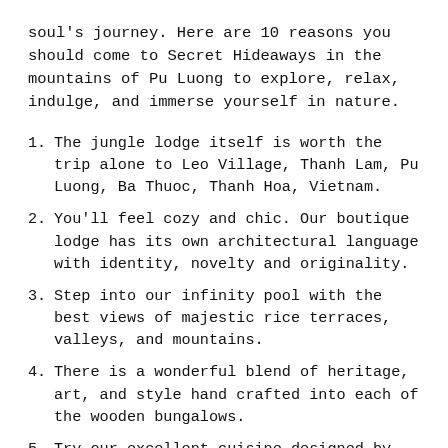soul's journey. Here are 10 reasons you should come to Secret Hideaways in the mountains of Pu Luong to explore, relax, indulge, and immerse yourself in nature.
1. The jungle lodge itself is worth the trip alone to Leo Village, Thanh Lam, Pu Luong, Ba Thuoc, Thanh Hoa, Vietnam.
2. You'll feel cozy and chic. Our boutique lodge has its own architectural language with identity, novelty and originality.
3. Step into our infinity pool with the best views of majestic rice terraces, valleys, and mountains.
4. There is a wonderful blend of heritage, art, and style hand crafted into each of the wooden bungalows.
5. Try our excellent cuisine designed by renowned chefs, elevating local specialties to fine dining.
6. This hideaway has been researched, built, and developed by travel gurus to offer unique and authentic travel experiences to enrich your stay.